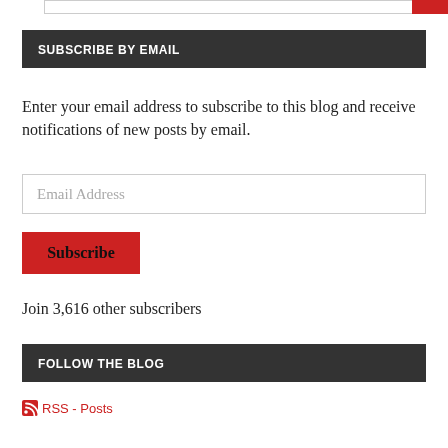SUBSCRIBE BY EMAIL
Enter your email address to subscribe to this blog and receive notifications of new posts by email.
Email Address
Subscribe
Join 3,616 other subscribers
FOLLOW THE BLOG
RSS - Posts